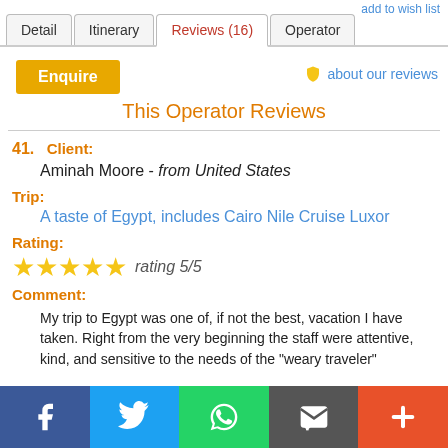add to wish list
Detail
Itinerary
Reviews (16)
Operator
Enquire
about our reviews
This Operator Reviews
41.  Client:
Aminah Moore - from United States
Trip:
A taste of Egypt, includes Cairo Nile Cruise Luxor
Rating:
★★★★★ rating 5/5
Comment:
My trip to Egypt was one of, if not the best, vacation I have taken. Right from the very beginning the staff were attentive, kind, and sensitive to the needs of the "weary traveler"

The guides were all very knowledgeable, and we truly enjoyed being with them even as they maintained their professional demeanor.